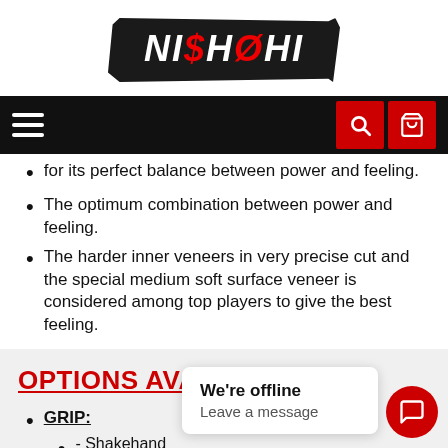[Figure (logo): Nishohi brand logo in white italic text on black brush-stroke background with dollar sign and crossed-zero styling]
[Figure (screenshot): Black navigation bar with hamburger menu on left and two red icon buttons (search, cart) on right]
for its perfect balance between power and feeling.
The optimum combination between power and feeling.
The harder inner veneers in very precise cut and the special medium soft surface veneer is considered among top players to give the best feeling.
OPTIONS AVAILABLE
GRIP:
- Shakehand [Straight]
- Shakehand [Flared]
- Chinese Penhold